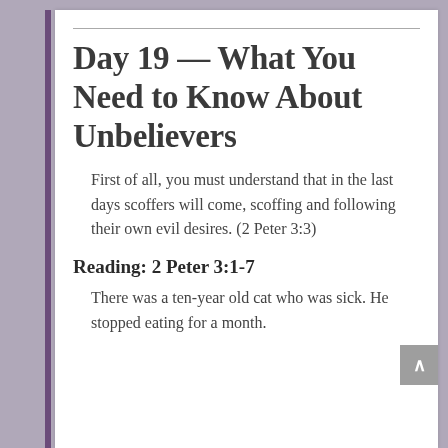Day 19 — What You Need to Know About Unbelievers
First of all, you must understand that in the last days scoffers will come, scoffing and following their own evil desires. (2 Peter 3:3)
Reading: 2 Peter 3:1-7
There was a ten-year old cat who was sick. He stopped eating for a month.